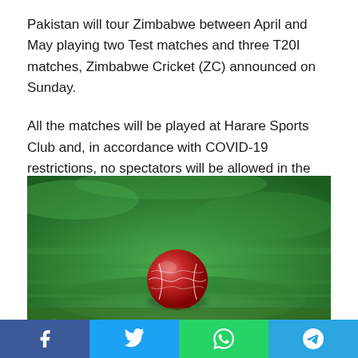Pakistan will tour Zimbabwe between April and May playing two Test matches and three T20I matches, Zimbabwe Cricket (ZC) announced on Sunday.
All the matches will be played at Harare Sports Club and, in accordance with COVID-19 restrictions, no spectators will be allowed in the stadium, ZC said.
[Figure (photo): A red cricket ball resting on bright green grass, close-up shot with blurred background.]